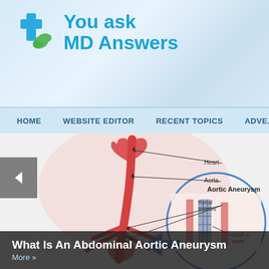[Figure (logo): You ask MD Answers logo with blue cross, green leaf, and blue text on light blue gradient background]
HOME   WEBSITE EDITOR   RECENT TOPICS   ADVE...
[Figure (illustration): Medical illustration of Aortic Aneurysm showing Heart, Aorta, Renal arteries labeled with arrows, and a circular inset showing Graft with stent detail. Blue arrow pointing to inset. Pink/red anatomical coloring.]
What Is An Abdominal Aortic Aneurysm
More »